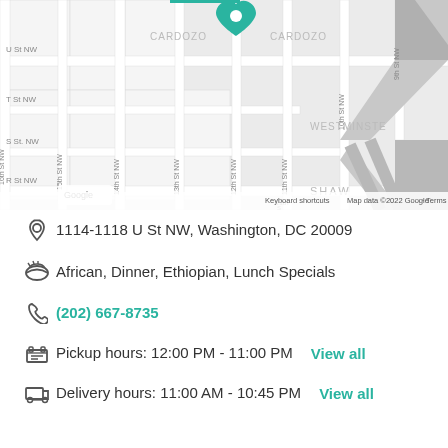[Figure (map): Google Maps screenshot showing street grid around U St NW, Washington DC area including streets like 9th St NW, 10th St NW, 11th St NW, 12th St NW, 13th St NW, 14th St NW, 15th St NW, U St NW, T St NW, S St NW, R St NW, neighborhoods CARDOZO, WESTMINSTER, SHAW, with a teal heart/pin marker and Google logo and attribution.]
1114-1118 U St NW, Washington, DC 20009
African, Dinner, Ethiopian, Lunch Specials
(202) 667-8735
Pickup hours: 12:00 PM - 11:00 PM  View all
Delivery hours: 11:00 AM - 10:45 PM  View all